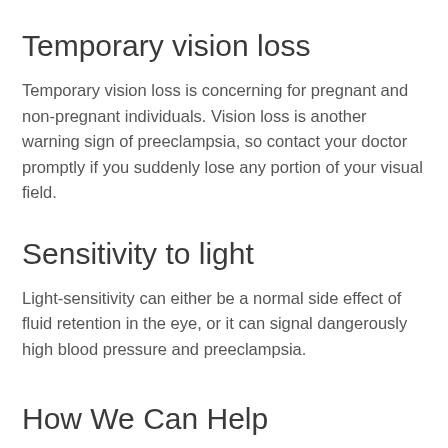Temporary vision loss
Temporary vision loss is concerning for pregnant and non-pregnant individuals. Vision loss is another warning sign of preeclampsia, so contact your doctor promptly if you suddenly lose any portion of your visual field.
Sensitivity to light
Light-sensitivity can either be a normal side effect of fluid retention in the eye, or it can signal dangerously high blood pressure and preeclampsia.
How We Can Help
At Elemental Eyecare LLC, our goal is to keep your vision and eyes healthy throughout your pregnancy and beyond. If you experience any visual symptoms, we can